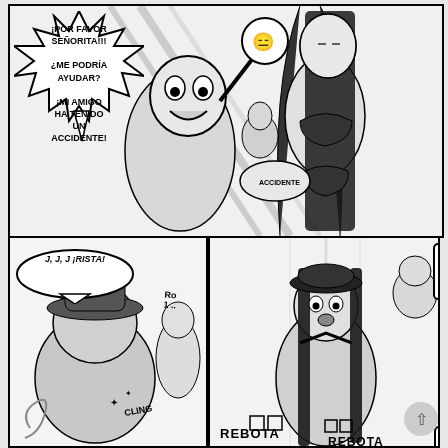[Figure (illustration): Manga/comic page in black and white. Top panel: a male character with an excited expression reaching upward with speech bubble saying '¡POR FAVOR SEÑORITA!!! ¿ME PODRÍA AYUDAR? ¡MI AMIGO HA TENIDO UN ACCIDENTE!', a small reaction bubble with face, and a tall woman with long black hair in a bikini. Background shows other characters. Bottom-left panel: laughing character with speech bubble 'J, J, J ¡RISTA!' and a CLING sound effect. Bottom-right panel: the woman in bikini looking surprised, upper-right shows man with '¿¿QUÉ?! !?' bubble, lower-right has '¿SE ENCUENTRA EL BIEN? ??' bubble, and 'REBOTA REBOTA' text at the bottom.]